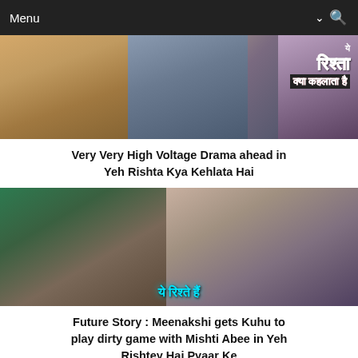Menu
[Figure (photo): Screenshot of Yeh Rishta Kya Kehlata Hai TV show with Hindi text overlay]
Very Very High Voltage Drama ahead in Yeh Rishta Kya Kehlata Hai
[Figure (photo): Screenshot of Yeh Rishtey Hai Pyaar Ke TV show with Hindi text overlay 'ye rishte hain']
Future Story : Meenakshi gets Kuhu to play dirty game with Mishti Abee in Yeh Rishtey Hai Pyaar Ke